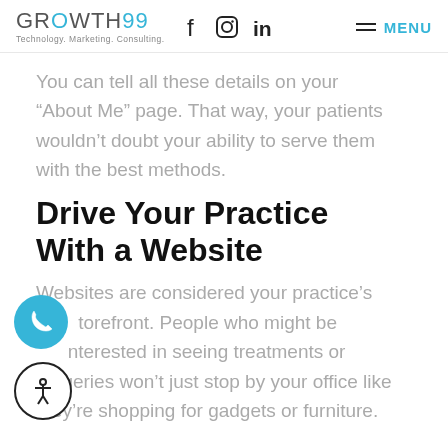GROWTH99 Technology. Marketing. Consulting.
You can tell all these details on your “About Me” page. That way, your patients wouldn’t doubt your ability to serve them with the best methods.
Drive Your Practice With a Website
Websites are considered your practice’s storefront. People who might be interested in seeing treatments or surgeries won’t just stop by your office like they’re shopping for gadgets or furniture.